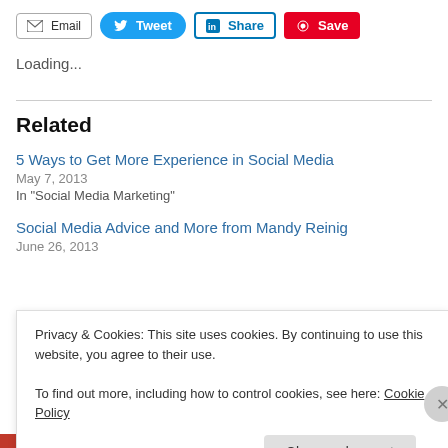[Figure (screenshot): Social sharing buttons row: Email, Tweet, Share (LinkedIn), Save (Pinterest)]
Loading...
Related
5 Ways to Get More Experience in Social Media
May 7, 2013
In "Social Media Marketing"
Social Media Advice and More from Mandy Reinig
June 26, 2013
Privacy & Cookies: This site uses cookies. By continuing to use this website, you agree to their use.
To find out more, including how to control cookies, see here: Cookie Policy